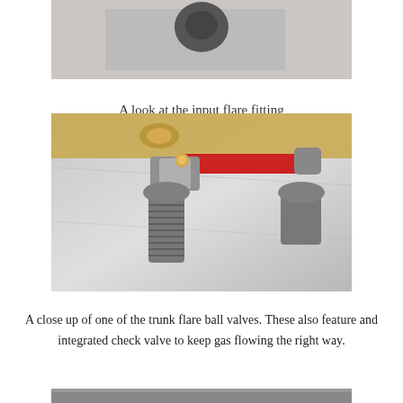[Figure (photo): Close-up photo of an input flare fitting component, partially visible at top of page]
A look at the input flare fitting
[Figure (photo): Close-up photo of a trunk flare ball valve with red handle on a brushed metal surface, showing chromed fittings and threaded connections]
A close up of one of the trunk flare ball valves.  These also feature and integrated check valve to keep gas flowing the right way.
[Figure (photo): Partial view of another component, cropped at bottom of page]